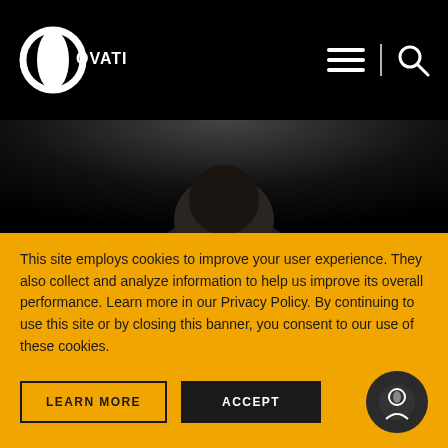OVATION
[Figure (photo): Close-up photo of a person (Tom Hanks) looking down, dark background]
Artist to Icon S01 E07 - Tom Hanks
Very few people become a star. Fewer still achieve iconic status. So just how do they do it? Artist to Icon goes beyond the constraints of the velvet rope to reveal some of the most
This site employs cookies to improve your user experience. They also collect and analyze information to help us improve its overall performance. Learn more in our Privacy Policy. By continuing to use this site or by closing this banner, you consent to our use of these cookies.
LEARN MORE
ACCEPT